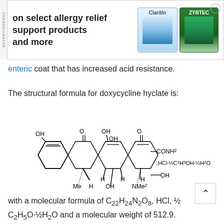[Figure (other): Advertisement banner showing allergy relief products Claritin and Zyrtec with text 'on select allergy relief support products and more']
enteric coat that has increased acid resistance.
The structural formula for doxycycline hyclate is:
[Figure (engineering-diagram): Structural chemical formula of doxycycline hyclate showing tetracycline ring system with substituents: OH, O, OH, O, OH, CONH2, HCl·½C2H5OH·½H2O, Me, H, H, OH, H, H, NMe2]
with a molecular formula of C22H24N2O8, HCl, ½ C2H5O·½H2O and a molecular weight of 512.9. The